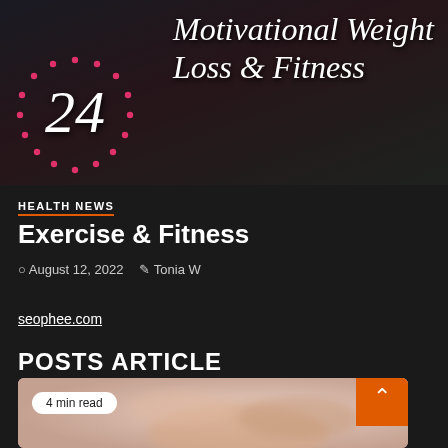[Figure (photo): Dark themed hero image with script text reading 'Motivational Weight Loss & Fitness' and the number 24 with dotted pink circle decoration on a dark background]
HEALTH NEWS
Exercise & Fitness
August 12, 2022   Tonia W
seophee.com
POSTS ARTICLE
[Figure (photo): Thumbnail image showing a close-up blurred photo, with a '4 min read' badge and an orange scroll-to-top arrow button]